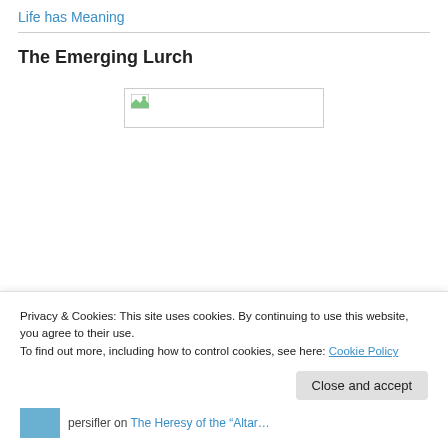Life has Meaning
The Emerging Lurch
[Figure (photo): Broken image placeholder with small icon (green leaf/image icon) on left side, wide empty rectangle]
Privacy & Cookies: This site uses cookies. By continuing to use this website, you agree to their use.
To find out more, including how to control cookies, see here: Cookie Policy
Close and accept
persifler on The Heresy of the “Altar…